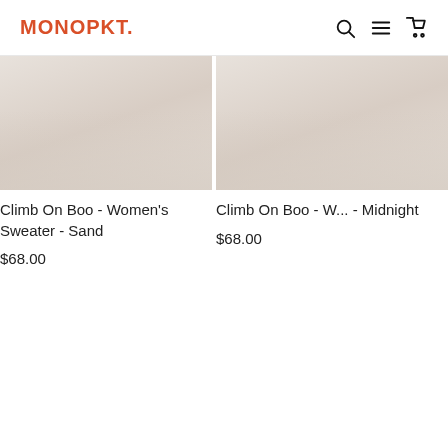MONOPKT.
[Figure (photo): Product photo of women's sweater in sand color, partial view cropped at top]
Climb On Boo - Women's Sweater - Sand
$68.00
[Figure (photo): Product photo of women's sweater in midnight color, partial view cropped at top and right]
Climb On Boo - W... - Midnight
$68.00